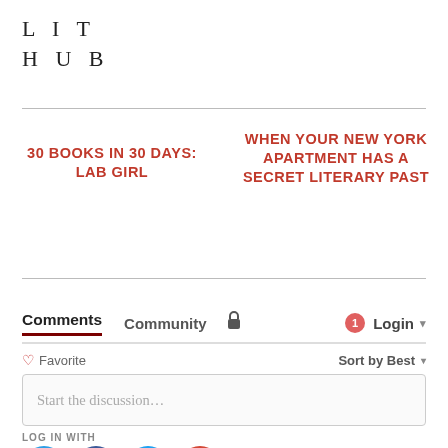LIT
HUB
30 BOOKS IN 30 DAYS: LAB GIRL
WHEN YOUR NEW YORK APARTMENT HAS A SECRET LITERARY PAST
Comments
Community
Login
Favorite
Sort by Best
Start the discussion…
LOG IN WITH